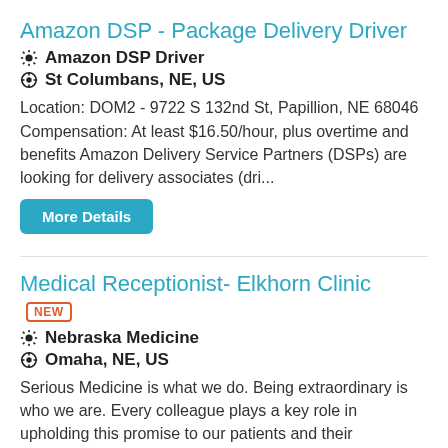Amazon DSP - Package Delivery Driver
Amazon DSP Driver
St Columbans, NE, US
Location: DOM2 - 9722 S 132nd St, Papillion, NE 68046 Compensation: At least $16.50/hour, plus overtime and benefits Amazon Delivery Service Partners (DSPs) are looking for delivery associates (dri...
More Details
Medical Receptionist- Elkhorn Clinic NEW
Nebraska Medicine
Omaha, NE, US
Serious Medicine is what we do. Being extraordinary is who we are. Every colleague plays a key role in upholding this promise to our patients and their families.Please note that this position may requ...
More Details